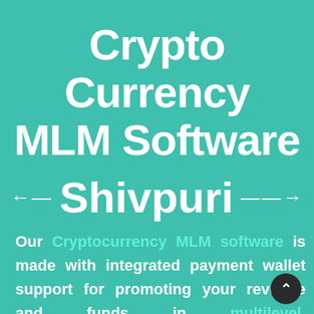Crypto Currency MLM Software Shivpuri
Our Cryptocurrency MLM software is made with integrated payment wallet support for promoting your revenue and funds in multilevel marketing.Cryptocurrency MLM software development enhances your MLM Platform by promoting your coin among